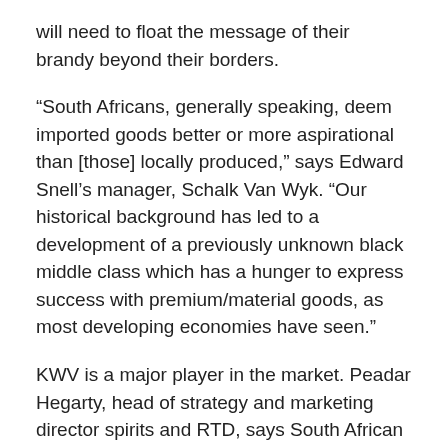will need to float the message of their brandy beyond their borders.
“South Africans, generally speaking, deem imported goods better or more aspirational than [those] locally produced,” says Edward Snell’s manager, Schalk Van Wyk. “Our historical background has led to a development of a previously unknown black middle class which has a hunger to express success with premium/material goods, as most developing economies have seen.”
KWV is a major player in the market. Peadar Hegarty, head of strategy and marketing director spirits and RTD, says South African brandy must “face up to the competitive challenge from whisky and vodka” and address “the image of brandy” which is “still seen as the poor relation of the spirits market”.
Education is key in South Africa – something the likes of Diageo, through its jointly-backed Brandhouse distribution